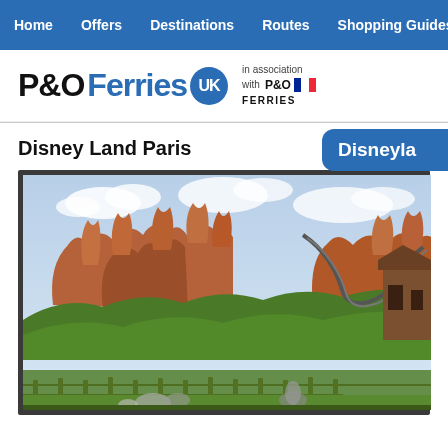Home | Offers | Destinations | Routes | Shopping Guides | My P&O
[Figure (logo): P&O Ferries UK logo in association with P&O Ferries]
Disney Land Paris
[Figure (photo): Disneyland Paris theme park photo showing Big Thunder Mountain roller coaster with red rock formations, green trees, and wooden structures]
Disneyla...